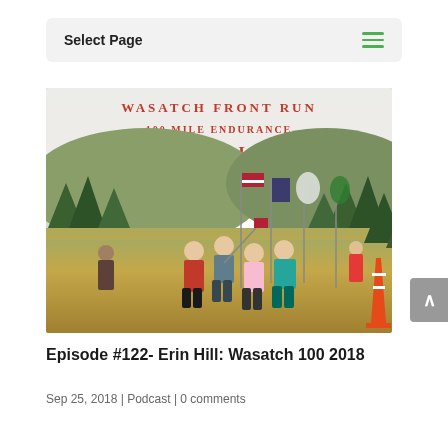Select Page
[Figure (photo): Photo of runners crossing the Wasatch Front 100 Mile Endurance finish line with a large white banner reading 'WASATCH FRONT RUN / 100 MILE ENDURANCE / FINISH LINE' in red letters. Several people are running through the finish, flags are visible in the background, and an orange traffic cone is on the right.]
Episode #122- Erin Hill: Wasatch 100 2018
Sep 25, 2018 | Podcast | 0 comments